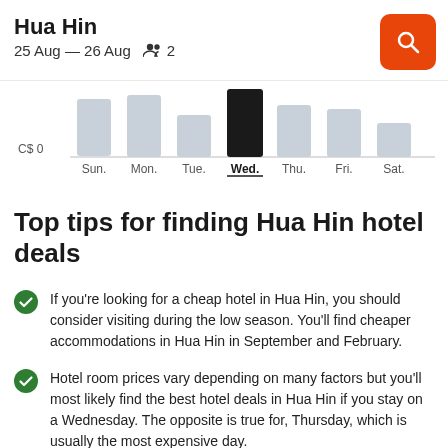Hua Hin
25 Aug — 26 Aug   2
[Figure (bar-chart): Price by day of week]
Top tips for finding Hua Hin hotel deals
If you're looking for a cheap hotel in Hua Hin, you should consider visiting during the low season. You'll find cheaper accommodations in Hua Hin in September and February.
Hotel room prices vary depending on many factors but you'll most likely find the best hotel deals in Hua Hin if you stay on a Wednesday. The opposite is true for, Thursday, which is usually the most expensive day.